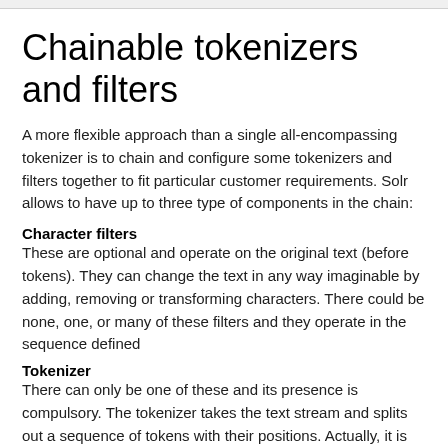Chainable tokenizers and filters
A more flexible approach than a single all-encompassing tokenizer is to chain and configure some tokenizers and filters together to fit particular customer requirements. Solr allows to have up to three type of components in the chain:
Character filters
These are optional and operate on the original text (before tokens). They can change the text in any way imaginable by adding, removing or transforming characters. There could be none, one, or many of these filters and they operate in the sequence defined
Tokenizer
There can only be one of these and its presence is compulsory. The tokenizer takes the text stream and splits out a sequence of tokens with their positions. Actually, it is more complicated, as the output is actually a graph, but most of the time we can think of it as a sequence
Token filters
These filters are also optional and they work similar to character